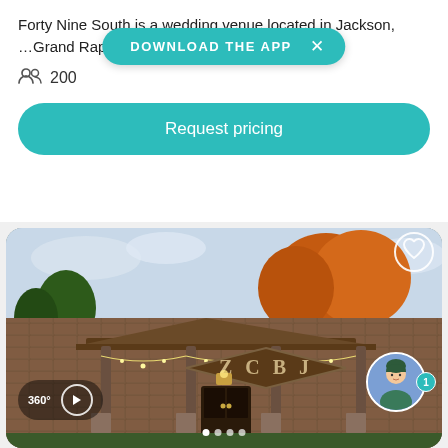Forty Nine South is a wedding venue located in Jackson, ... Grand Rapids region. This... Read more
200
DOWNLOAD THE APP
Request pricing
[Figure (photo): Exterior photo of ZCBJ wedding venue building with brick facade, string lights, covered porch entrance, and autumn-colored trees in background. A heart icon overlay appears in the top right corner. A 360-degree badge and play button appear in the lower left.]